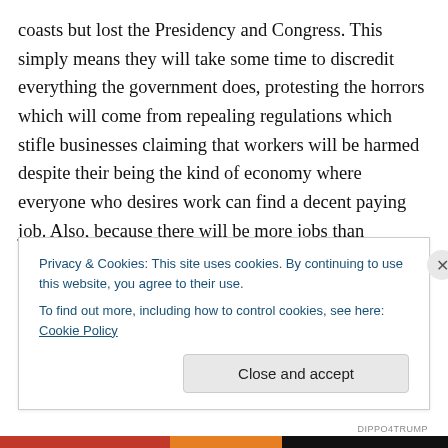coasts but lost the Presidency and Congress. This simply means they will take some time to discredit everything the government does, protesting the horrors which will come from repealing regulations which stifle businesses claiming that workers will be harmed despite their being the kind of economy where everyone who desires work can find a decent paying job. Also, because there will be more jobs than applicants, wages will rise. As long as wages are mentioned, bear in mind that even if Congress passed a minimum wage bill raising the minimum wage to $15.00/hr. over the next five years the media would go ballistic
Privacy & Cookies: This site uses cookies. By continuing to use this website, you agree to their use.
To find out more, including how to control cookies, see here: Cookie Policy
Close and accept